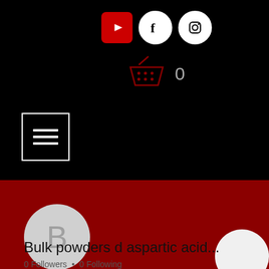[Figure (screenshot): Website header with black background showing YouTube, Facebook, and Instagram social media icons, a shopping cart icon with count 0, and a hamburger menu button]
[Figure (screenshot): Dark red/maroon profile section with a gray circle avatar showing letter B, a Follow button, and three-dot menu]
Bulk powders d aspartic acid...
0 Followers • 0 Following